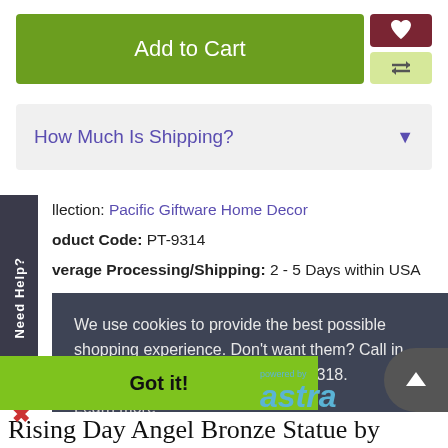[Figure (screenshot): Add to Cart green button with heart (wishlist) and compare icons on the right side]
How Much Is Shipping?
Collection: Pacific Giftware Home Decor
Product Code: PT-9314
Average Processing/Shipping: 2 - 5 Days within USA
Need Help?
We use cookies to provide the best possible shopping experience. Don't want them? Call in your order US Toll Free 877-822-3318.
Learn more
Got it!
[Figure (logo): Powered by Astra logo in blue]
Rising Day Angel Bronze Statue by